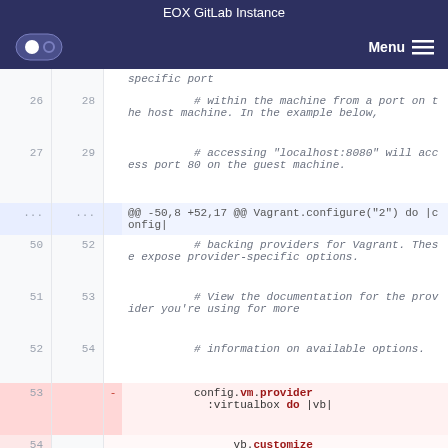EOX GitLab Instance
[Figure (screenshot): GitLab navigation bar with logo and Menu button]
Code diff view showing lines 26-54 of a Vagrantfile with deleted line 53: config.vm.provider :virtualbox do |vb|